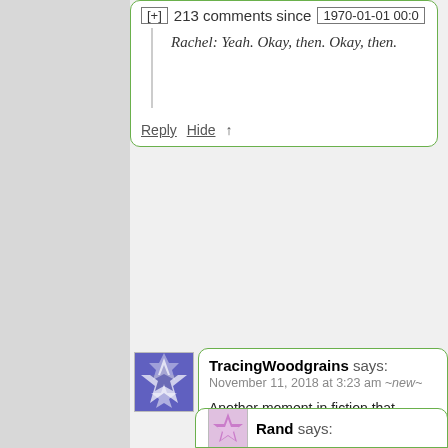[+] 213 comments since 1970-01-01 00:0
Rachel: Yeah. Okay, then. Okay, then.
Reply Hide ↑
TracingWoodgrains says: November 11, 2018 at 3:23 am ~new~
Another moment in fiction that paralle last statement of Han Qing-Jao, the o a faith her world knew was false, from Xenocide:
Mother. Father. Did I do it rig
Reply Hide ↑
Rand says: